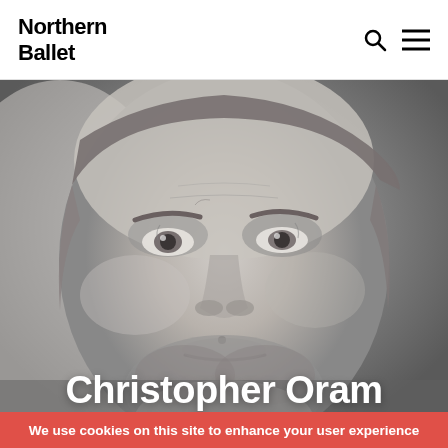Northern Ballet
[Figure (photo): Close-up black and white portrait photo of Christopher Oram, a middle-aged man with stubble beard and slightly greying hair, looking directly at the camera with a neutral expression.]
Christopher Oram
We use cookies on this site to enhance your user experience